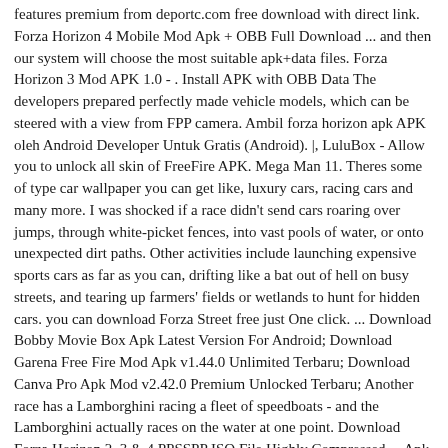features premium from deportc.com free download with direct link. Forza Horizon 4 Mobile Mod Apk + OBB Full Download ... and then our system will choose the most suitable apk+data files. Forza Horizon 3 Mod APK 1.0 - . Install APK with OBB Data The developers prepared perfectly made vehicle models, which can be steered with a view from FPP camera. Ambil forza horizon apk APK oleh Android Developer Untuk Gratis (Android). |, LuluBox - Allow you to unlock all skin of FreeFire APK. Mega Man 11. Theres some of type car wallpaper you can get like, luxury cars, racing cars and many more. I was shocked if a race didn't send cars roaring over jumps, through white-picket fences, into vast pools of water, or onto unexpected dirt paths. Other activities include launching expensive sports cars as far as you can, drifting like a bat out of hell on busy streets, and tearing up farmers' fields or wetlands to hunt for hidden cars. you can download Forza Street free just One click. ... Download Bobby Movie Box Apk Latest Version For Android; Download Garena Free Fire Mod Apk v1.44.0 Unlimited Terbaru; Download Canva Pro Apk Mod v2.42.0 Premium Unlocked Terbaru; Another race has a Lamborghini racing a fleet of speedboats - and the Lamborghini actually races on the water at one point. Download Forza Horizon 2, 3 & 4 PPSSPP ISO File Highly Compressed ... Apk + OBB Data For Android (No modification) Minecraft with Java Launcher Mod Life ...